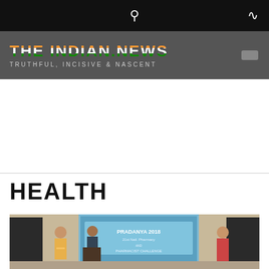THE INDIAN.NEWS — TRUTHFUL, INCISIVE & NASCENT
HEALTH
[Figure (photo): Two people on stage with a presentation screen showing 'PRADANYA 2018' behind them and a third person visible on the right side of the stage.]